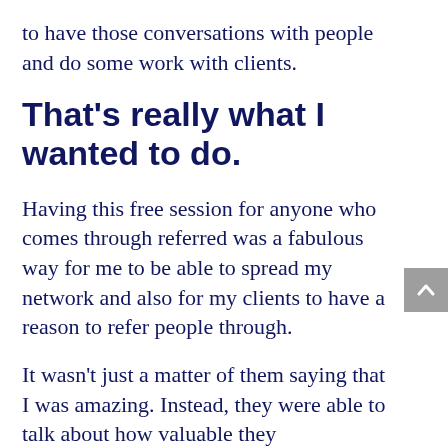to have those conversations with people and do some work with clients.
That's really what I wanted to do.
Having this free session for anyone who comes through referred was a fabulous way for me to be able to spread my network and also for my clients to have a reason to refer people through.
It wasn't just a matter of them saying that I was amazing. Instead, they were able to talk about how valuable they